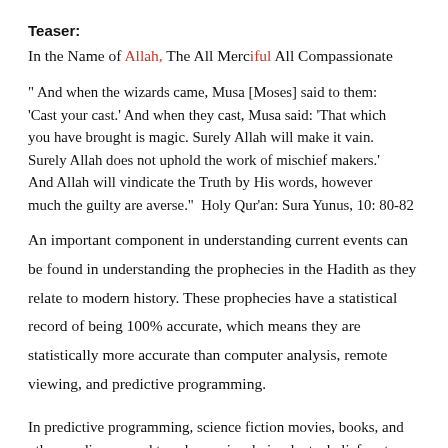Teaser:
In the Name of Allah, The All Merciful All Compassionate
" And when the wizards came, Musa [Moses] said to them: 'Cast your cast.' And when they cast, Musa said: 'That which you have brought is magic. Surely Allah will make it vain. Surely Allah does not uphold the work of mischief makers.' And Allah will vindicate the Truth by His words, however much the guilty are averse."  Holy Qur'an: Sura Yunus, 10: 80-82
An important component in understanding current events can be found in understanding the prophecies in the Hadith as they relate to modern history. These prophecies have a statistical record of being 100% accurate, which means they are statistically more accurate than computer analysis, remote viewing, and predictive programming.
In predictive programming, science fiction movies, books, and other media are used to subconsciously implant a belief system or expectation of what the future will be like. For example, in